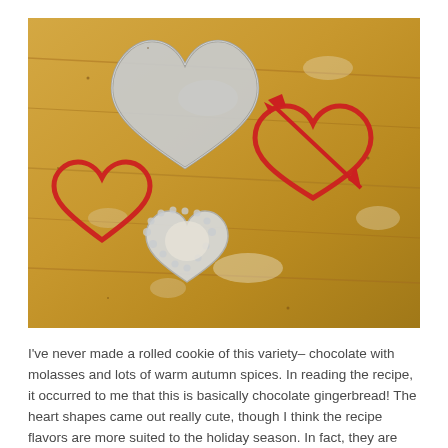[Figure (photo): Photo of four heart-shaped cookie cutters on a floured wooden surface. One large plain red heart outline, one large silver/aluminum heart, one red heart with arrow (Cupid/Valentine style), and one small white scalloped/ruffled heart cutter, some with dough flour on them.]
I've never made a rolled cookie of this variety– chocolate with molasses and lots of warm autumn spices. In reading the recipe, it occurred to me that this is basically chocolate gingerbread! The heart shapes came out really cute, though I think the recipe flavors are more suited to the holiday season. In fact, they are perfect for